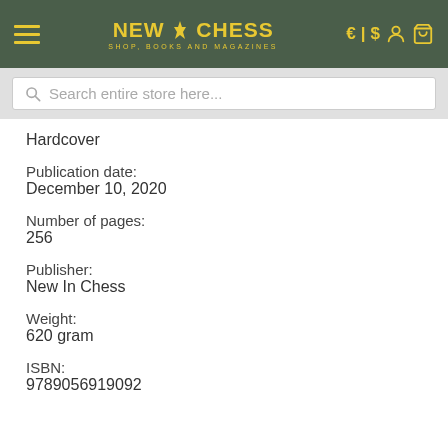NEW IN CHESS – SHOP, BOOKS AND MAGAZINES
Hardcover
Publication date:
December 10, 2020
Number of pages:
256
Publisher:
New In Chess
Weight:
620 gram
ISBN:
9789056919092